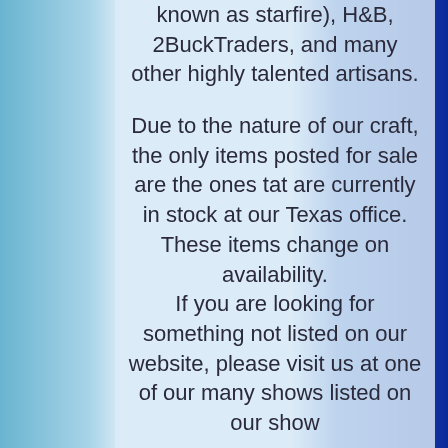known as starfire), H&B, 2BuckTraders, and many other highly talented artisans.
Due to the nature of our craft, the only items posted for sale are the ones tat are currently in stock at our Texas office. These items change on availability.
If you are looking for something not listed on our website, please visit us at one of our many shows listed on our show